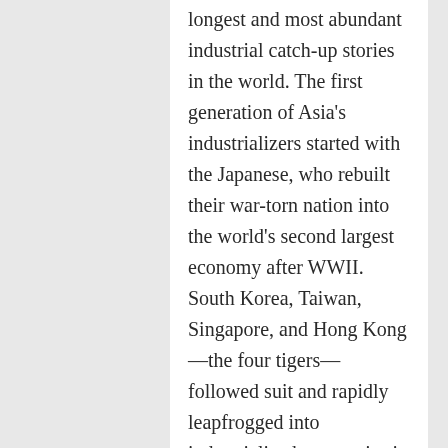longest and most abundant industrial catch-up stories in the world. The first generation of Asia's industrializers started with the Japanese, who rebuilt their war-torn nation into the world's second largest economy after WWII. South Korea, Taiwan, Singapore, and Hong Kong—the four tigers—followed suit and rapidly leapfrogged into industrialized economies in mere decades. China's economic rise constituted